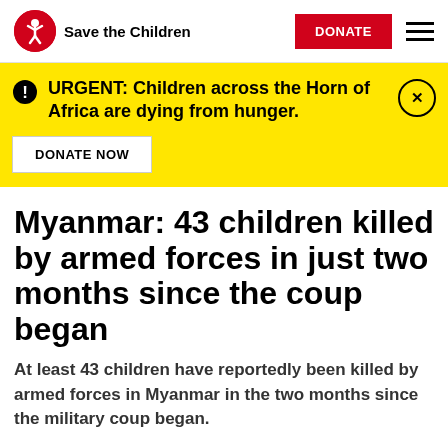Save the Children | DONATE
URGENT: Children across the Horn of Africa are dying from hunger.
DONATE NOW
Myanmar: 43 children killed by armed forces in just two months since the coup began
At least 43 children have reportedly been killed by armed forces in Myanmar in the two months since the military coup began.